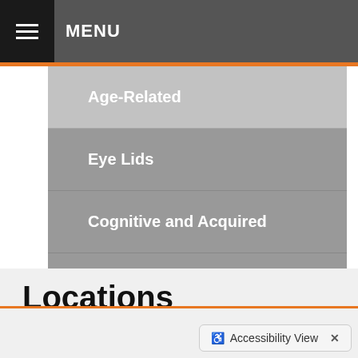MENU
Age-Related
Eye Lids
Cognitive and Acquired
Vision Impairment
Injury & Irritation
Changes in Appearance
Locations
Accessibility View